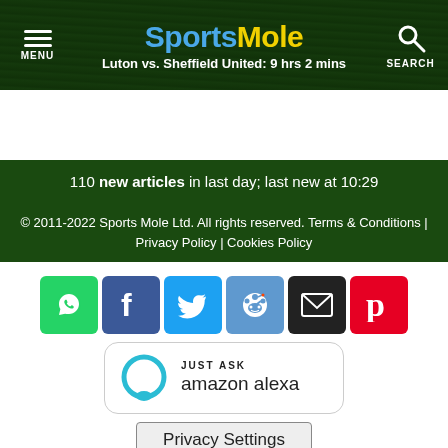Sports Mole | Luton vs. Sheffield United: 9 hrs 2 mins | MENU | SEARCH
110 new articles in last day; last new at 10:29
© 2011-2022 Sports Mole Ltd. All rights reserved. Terms & Conditions | Privacy Policy | Cookies Policy
[Figure (other): Social media share buttons: WhatsApp, Facebook, Twitter, Reddit, Email, Pinterest]
[Figure (logo): Just Ask Amazon Alexa logo with Alexa ring icon]
Privacy Settings
Where am I?